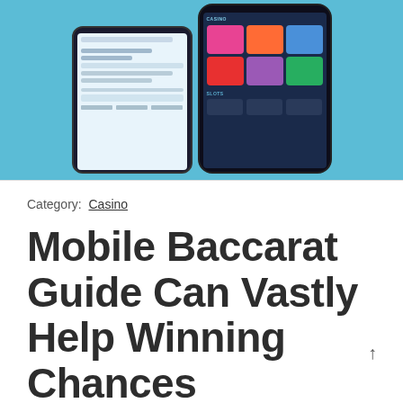[Figure (screenshot): Screenshot of a mobile casino app shown on two phone mockups against a light blue background. The left phone shows a sports betting interface with odds and selections. The right phone shows a casino lobby with colorful game tiles including slots and casino sections.]
Category:  Casino
Mobile Baccarat Guide Can Vastly Help Winning Chances